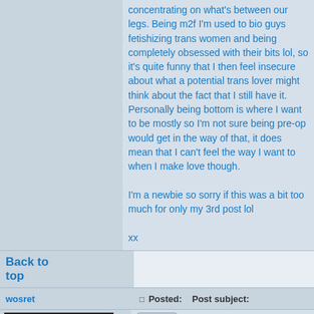concentrating on what's between our legs. Being m2f I'm used to bio guys fetishizing trans women and being completely obsessed with their bits lol, so it's quite funny that I then feel insecure about what a potential trans lover might think about the fact that I still have it. Personally being bottom is where I want to be mostly so I'm not sure being pre-op would get in the way of that, it does mean that I can't feel the way I want to when I make love though.

I'm a newbie so sorry if this was a bit too much for only my 3rd post lol

xx
Back to top
wosret
Posted:    Post subject:
quote
This is giving me a lot of confidence. I would really like to find a transguy. I would like to get to know some better. Wish there were more, and I knew where they congregated.
[Figure (photo): Avatar image with dark background showing a figure in a hat, with text CLICK HERE at top and SECRET PHOTO at bottom]
wosret
Joined: